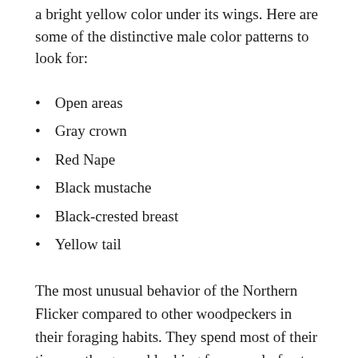a bright yellow color under its wings. Here are some of the distinctive male color patterns to look for:
Open areas
Gray crown
Red Nape
Black mustache
Black-crested breast
Yellow tail
The most unusual behavior of the Northern Flicker compared to other woodpeckers in their foraging habits. They spend most of their time on the ground looking for a meal of ants and beetles.
So, if you desire to spot one, you may want to try